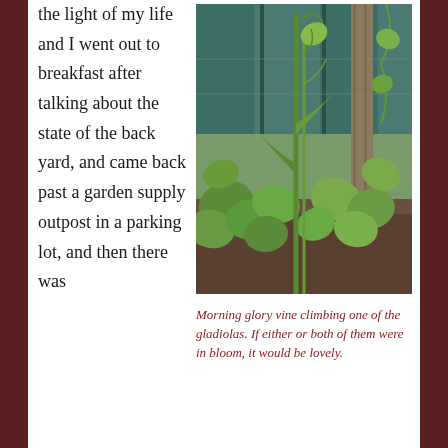the light of my life and I went out to breakfast after talking about the state of the back yard, and came back past a garden supply outpost in a parking lot, and then there was
[Figure (photo): A morning glory vine climbing up a gladiola stalk in a garden, with green heart-shaped leaves and a teal wooden fence in the background.]
Morning glory vine climbing one of the gladiolas. If either or both of them were in bloom, it would be lovely.